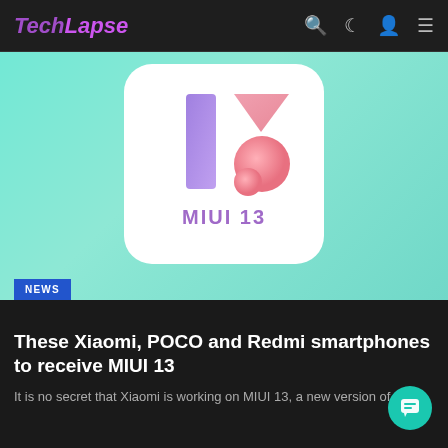TechLapse
[Figure (illustration): MIUI 13 logo on a teal/mint green background. A white rounded-corner card contains the stylized '13' numeral in purple/pink gradient colors, with 'MIUI 13' text below in purple. A blue 'NEWS' badge overlays the bottom-left of the image.]
These Xiaomi, POCO and Redmi smartphones to receive MIUI 13
It is no secret that Xiaomi is working on MIUI 13, a new version of ...